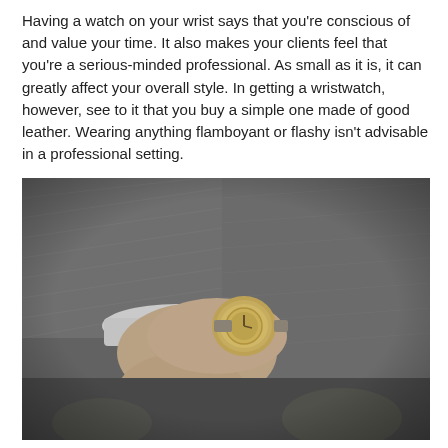Having a watch on your wrist says that you're conscious of and value your time. It also makes your clients feel that you're a serious-minded professional. As small as it is, it can greatly affect your overall style. In getting a wristwatch, however, see to it that you buy a simple one made of good leather. Wearing anything flamboyant or flashy isn't advisable in a professional setting.
[Figure (photo): A man in a grey checked suit adjusting or checking a gold wristwatch on his wrist, hands clasped together, close-up shot with blurred background, desaturated/muted tones.]